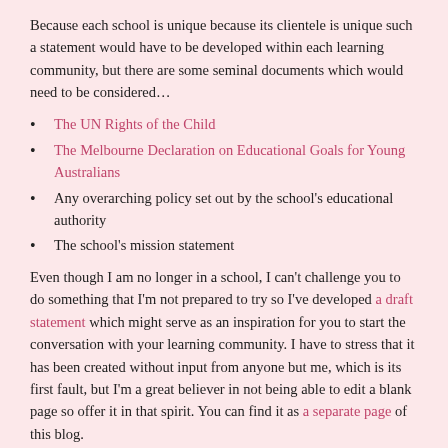Because each school is unique because its clientele is unique such a statement would have to be developed within each learning community, but there are some seminal documents which would need to be considered…
The UN Rights of the Child
The Melbourne Declaration on Educational Goals for Young Australians
Any overarching policy set out by the school's educational authority
The school's mission statement
Even though I am no longer in a school, I can't challenge you to do something that I'm not prepared to try so I've developed a draft statement which might serve as an inspiration for you to start the conversation with your learning community. I have to stress that it has been created without input from anyone but me, which is its first fault, but I'm a great believer in not being able to edit a blank page so offer it in that spirit. You can find it as a separate page of this blog.
Perhaps now I'm in a position to consider just what it is the TL can contribute to the teaching and learning of the students in our care…
[Figure (other): Print button with printer icon]